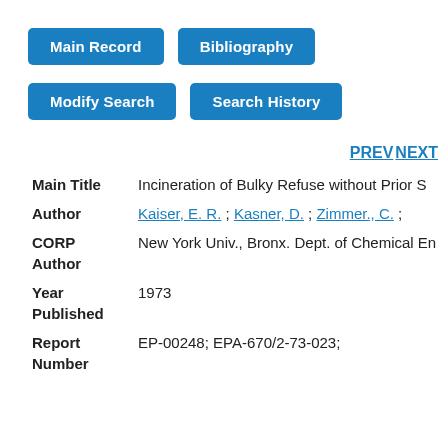Main Record  Bibliography
Modify Search  Search History
PREV NEXT
| Field | Value |
| --- | --- |
| Main Title | Incineration of Bulky Refuse without Prior S |
| Author | Kaiser, E. R. ; Kasner, D. ; Zimmer., C. ; |
| CORP Author | New York Univ., Bronx. Dept. of Chemical En |
| Year Published | 1973 |
| Report Number | EP-00248; EPA-670/2-73-023; |